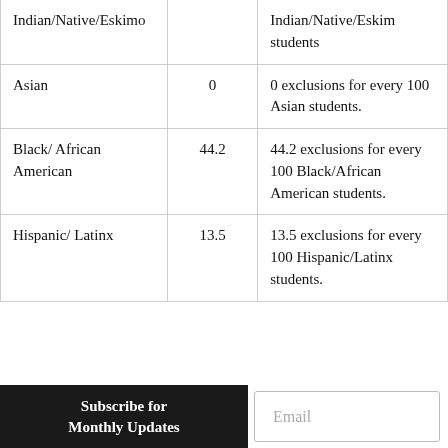| Race/Ethnicity | Rate | Interpretation |
| --- | --- | --- |
| Indian/Native/Eskimo |  | Indian/Native/Eskimo students |
| Asian | 0 | 0 exclusions for every 100 Asian students. |
| Black/ African American | 44.2 | 44.2 exclusions for every 100 Black/African American students. |
| Hispanic/ Latinx | 13.5 | 13.5 exclusions for every 100 Hispanic/Latinx students. |
Subscribe for Monthly Updates
Email